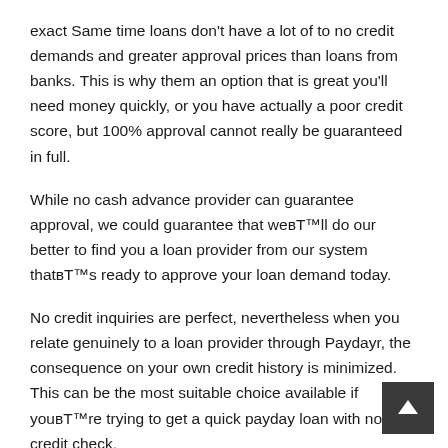exact Same time loans don't have a lot of to no credit demands and greater approval prices than loans from banks. This is why them an option that is great you'll need money quickly, or you have actually a poor credit score, but 100% approval cannot really be guaranteed in full.
While no cash advance provider can guarantee approval, we could guarantee that weвЂ™ll do our better to find you a loan provider from our system thatвЂ™s ready to approve your loan demand today.
No credit inquiries are perfect, nevertheless when you relate genuinely to a loan provider through Paydayr, the consequence on your own credit history is minimized. This can be the most suitable choice available if youвЂ™re trying to get a quick payday loan with no credit check.